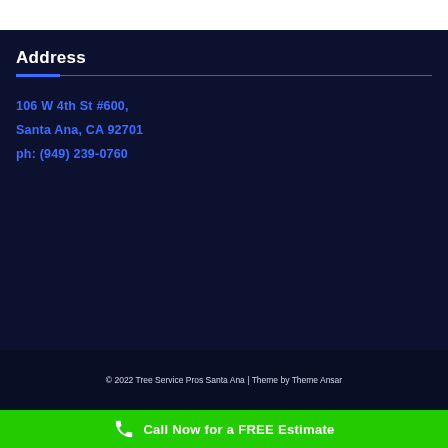Address
106 W 4th St #600,
Santa Ana, CA 92701
ph: (949) 239-0760
© 2022 Tree Service Pros Santa Ana | Theme by Theme Ansar
Call Now for a FREE Estimate